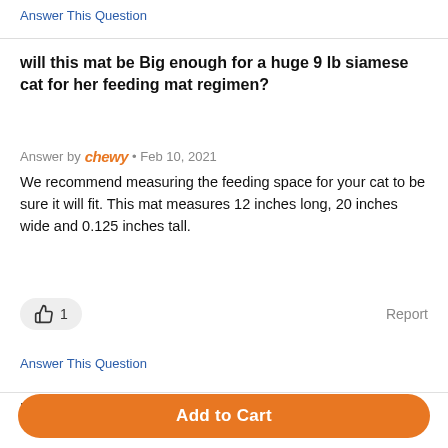Answer This Question
will this mat be Big enough for a huge 9 lb siamese cat for her feeding mat regimen?
Answer by chewy · Feb 10, 2021
We recommend measuring the feeding space for your cat to be sure it will fit. This mat measures 12 inches long, 20 inches wide and 0.125 inches tall.
👍 1    Report
Answer This Question
Re...
Add to Cart